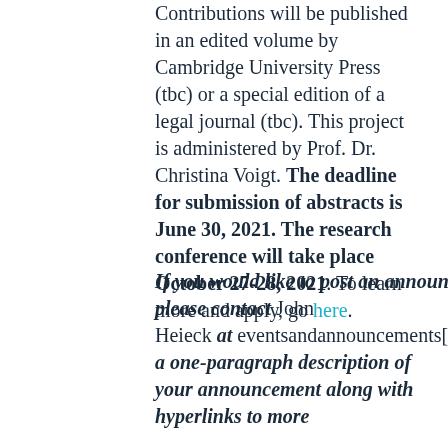Contributions will be published in an edited volume by Cambridge University Press (tbc) or a special edition of a legal journal (tbc). This project is administered by Prof. Dr. Christina Voigt. The deadline for submission of abstracts is June 30, 2021. The research conference will take place October 27-28, 2021. To learn more and apply, go here.
If you would like to post an announcement on Opinio Juris, please contact John Heieck at eventsandannouncements[at]gm a one-paragraph description of your announcement along with hyperlinks to more